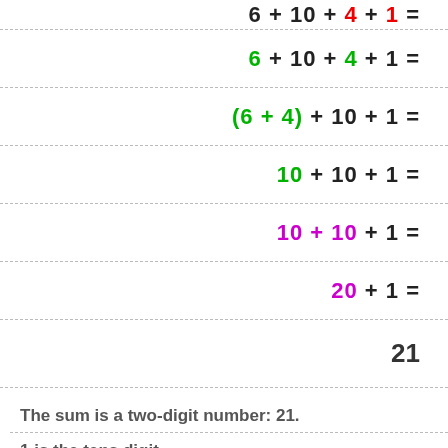21
The sum is a two-digit number: 21.
1 is the tens digit.